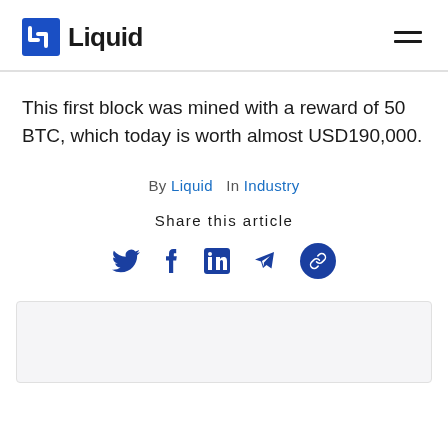Liquid
This first block was mined with a reward of 50 BTC, which today is worth almost USD190,000.
By Liquid  In Industry
Share this article
[Figure (infographic): Social share icons: Twitter, Facebook, LinkedIn, Telegram, Link]
[Figure (other): Bottom content box placeholder]